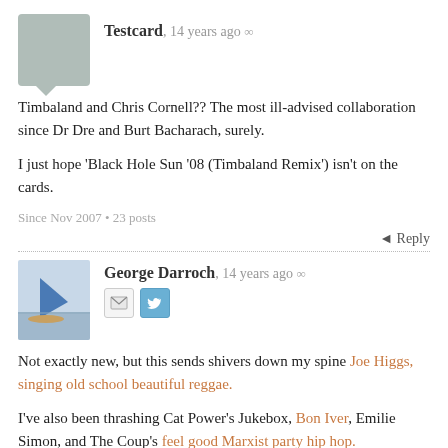[Figure (illustration): Grey speech-bubble shaped avatar placeholder]
Testcard, 14 years ago ∞
Timbaland and Chris Cornell?? The most ill-advised collaboration since Dr Dre and Burt Bacharach, surely.

I just hope 'Black Hole Sun '08 (Timbaland Remix') isn't on the cards.
Since Nov 2007 • 23 posts
◄ Reply
[Figure (photo): Small sailing boat with blue sail on water]
George Darroch, 14 years ago ∞
[Figure (illustration): Email and Twitter social icons]
Not exactly new, but this sends shivers down my spine Joe Higgs, singing old school beautiful reggae.

I've also been thrashing Cat Power's Jukebox, Bon Iver, Emilie Simon, and The Coup's feel good Marxist party hip hop.